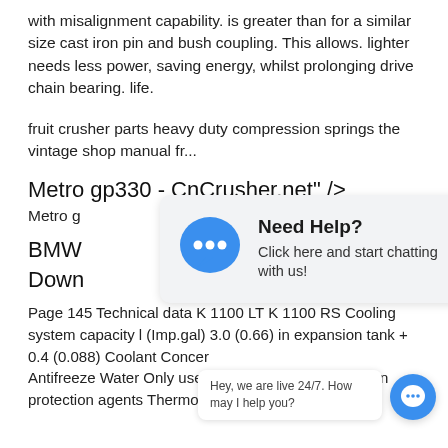with misalignment capability. is greater than for a similar size cast iron pin and bush coupling. This allows. lighter needs less power, saving energy, whilst prolonging drive chain bearing. life.
fruit crusher parts heavy duty compression springs the vintage shop manual fr...
Metro gp330 - CnCrusher.net" />
Metro g
BMW ... lf Down
Page 145 Technical data K 1100 LT K 1100 RS Cooling system capacity l (Imp.gal) 3.0 (0.66) in expansion tank + 0.4 (0.088) Coolant Concer Antifreeze Water Only use r st corro- sion protection agents Thermostat opens at °C 85
[Figure (screenshot): Chat popup overlay with blue speech bubble icon, title 'Need Help?', subtitle 'Click here and start chatting with us!']
[Figure (screenshot): Small chat widget at bottom right with tooltip 'Hey, we are live 24/7. How may I help you?' and blue circular chat button]